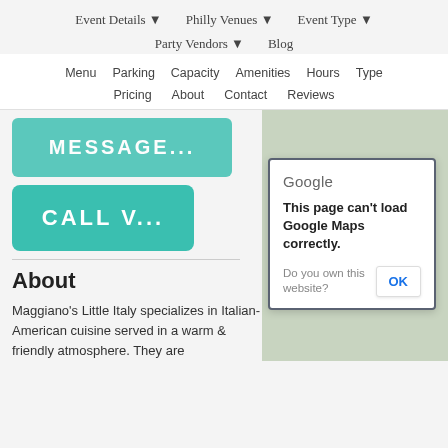Event Details ▾   Philly Venues ▾   Event Type ▾
Party Vendors ▾   Blog
Menu   Parking   Capacity   Amenities   Hours   Type
Pricing   About   Contact   Reviews
[Figure (screenshot): Teal button partially visible labeled MESSAGE...]
[Figure (screenshot): Teal button labeled CALL V...]
About
Maggiano's Little Italy specializes in Italian-American cuisine served in a warm & friendly atmosphere. They are
[Figure (screenshot): Google Maps error dialog: 'This page can't load Google Maps correctly.' with OK button and 'Do you own this website?' text]